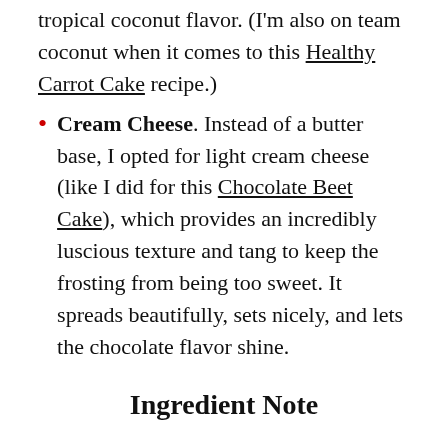tropical coconut flavor. (I'm also on team coconut when it comes to this Healthy Carrot Cake recipe.)
Cream Cheese. Instead of a butter base, I opted for light cream cheese (like I did for this Chocolate Beet Cake), which provides an incredibly luscious texture and tang to keep the frosting from being too sweet. It spreads beautifully, sets nicely, and lets the chocolate flavor shine.
Ingredient Note
If you are concerned about a strong cream cheese flavor, don't be. The cream cheese doesn't flavor the frosting much. Rather, it adds body and stability to the frosting so it won't slide right off of